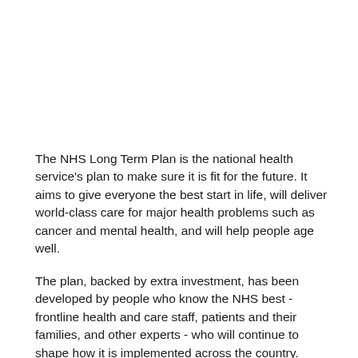The NHS Long Term Plan is the national health service's plan to make sure it is fit for the future. It aims to give everyone the best start in life, will deliver world-class care for major health problems such as cancer and mental health, and will help people age well.
The plan, backed by extra investment, has been developed by people who know the NHS best - frontline health and care staff, patients and their families, and other experts - who will continue to shape how it is implemented across the country.